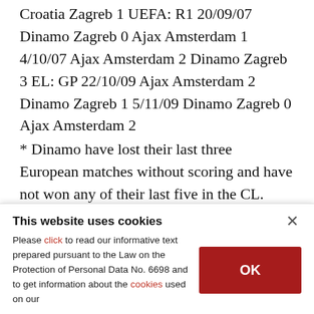Croatia Zagreb 1 UEFA: R1 20/09/07 Dinamo Zagreb 0 Ajax Amsterdam 1 4/10/07 Ajax Amsterdam 2 Dinamo Zagreb 3 EL: GP 22/10/09 Ajax Amsterdam 2 Dinamo Zagreb 1 5/11/09 Dinamo Zagreb 0 Ajax Amsterdam 2
* Dinamo have lost their last three European matches without scoring and have not won any of their last five in the CL.
* Dinamo have won only one of six previous home matches against Dutch teams.
* (partially visible/cut off)
This website uses cookies — Please click to read our informative text prepared pursuant to the Law on the Protection of Personal Data No. 6698 and to get information about the cookies used on our